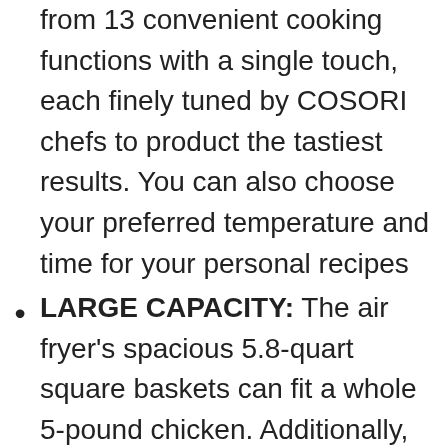from 13 convenient cooking functions with a single touch, each finely tuned by COSORI chefs to product the tastiest results. You can also choose your preferred temperature and time for your personal recipes
LARGE CAPACITY: The air fryer's spacious 5.8-quart square baskets can fit a whole 5-pound chicken. Additionally, the corner spaces provide more cooking capacity and flexibility than round designs. Cook the perfect amount of food for 3–5